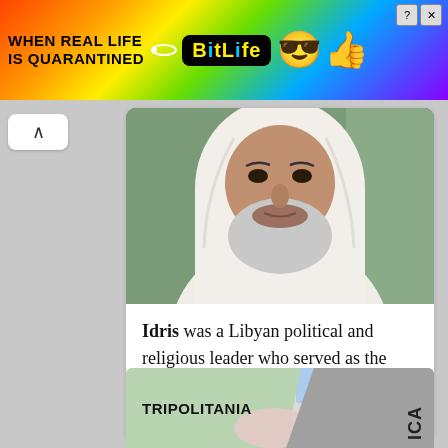[Figure (screenshot): Advertisement banner for BitLife app with rainbow background, text 'WHEN REAL LIFE IS QUARANTINED' and 'BitLife' logo with emojis]
[Figure (photo): Photo of an elderly bearded man wearing white traditional head covering and robes, likely King Idris of Libya]
Idris was a Libyan political and religious leader who served as the Emir of Cyrenaica and then as the King of the United Kingdom of
[Figure (map): Map showing regions including Tripolitania (green area) and Cyrenaica (gray area on right), partially visible]